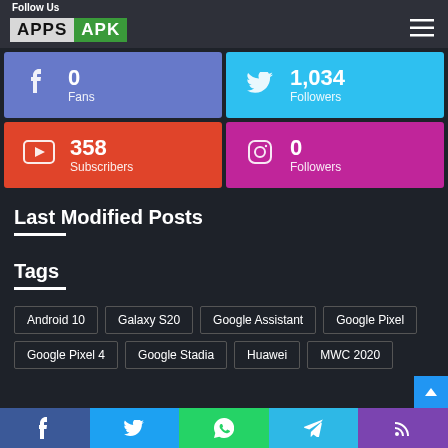Follow Us — APPS APK
[Figure (infographic): Social media follow stats: Facebook 0 Fans, Twitter 1,034 Followers, YouTube 358 Subscribers, Instagram 0 Followers]
Last Modified Posts
Tags
Android 10
Galaxy S20
Google Assistant
Google Pixel
Google Pixel 4
Google Stadia
Huawei
MWC 2020
Facebook | Twitter | WhatsApp | Telegram | RSS